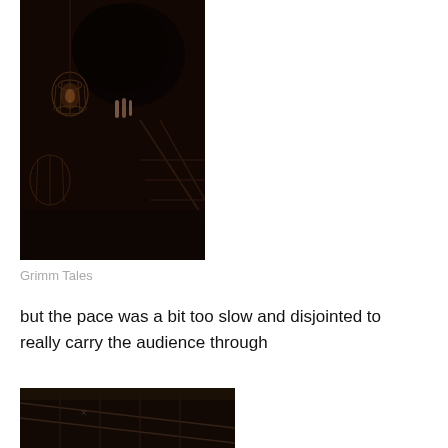[Figure (photo): Dark theatrical or cinematic scene showing hanging objects including what appears to be a birdcage lantern and a large dark suspended object, with stairs or scaffolding in the background, dimly lit in warm dark tones.]
Grimm Tales
but the pace was a bit too slow and disjointed to really carry the audience through
[Figure (photo): Partially visible dark scene showing what appears to be a staircase or wooden structure in dim lighting, continuation of theatrical imagery.]